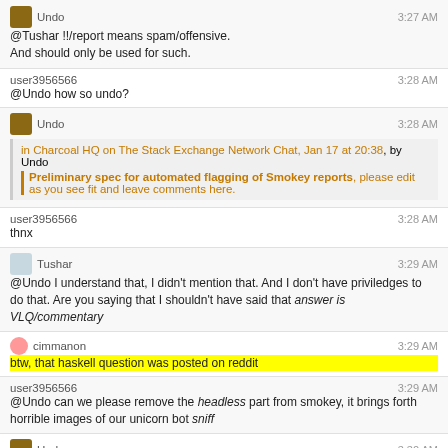Undo 3:27 AM
@Tushar !!/report means spam/offensive.
And should only be used for such.
user3956566 3:28 AM
@Undo how so undo?
Undo 3:28 AM
in Charcoal HQ on The Stack Exchange Network Chat, Jan 17 at 20:38, by Undo
Preliminary spec for automated flagging of Smokey reports, please edit as you see fit and leave comments here.
user3956566 3:28 AM
thnx
Tushar 3:29 AM
@Undo I understand that, I didn't mention that. And I don't have priviledges to do that. Are you saying that I shouldn't have said that answer is VLQ/commentary
cimmanon 3:29 AM
btw, that haskell question was posted on reddit
user3956566 3:29 AM
@Undo can we please remove the headless part from smokey, it brings forth horrible images of our unicorn bot sniff
Undo 3:30 AM